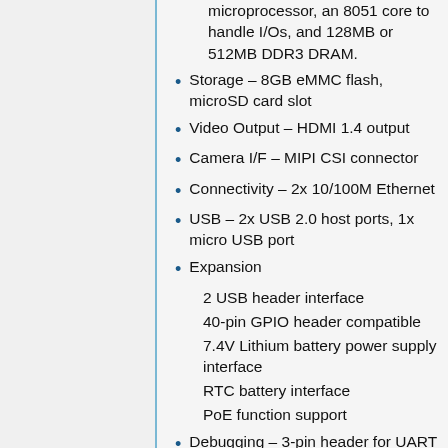microprocessor, an 8051 core to handle I/Os, and 128MB or 512MB DDR3 DRAM.
Storage – 8GB eMMC flash, microSD card slot
Video Output – HDMI 1.4 output
Camera I/F – MIPI CSI connector
Connectivity – 2x 10/100M Ethernet
USB – 2x USB 2.0 host ports, 1x micro USB port
Expansion
2 USB header interface
40-pin GPIO header compatible
7.4V Lithium battery power supply interface
RTC battery interface
PoE function support
Debugging – 3-pin header for UART console, SWD ICE port